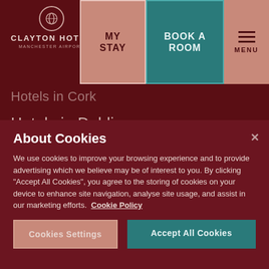CLAYTON HOTEL MANCHESTER AIRPORT
Hotels in Cork
Hotels in Dublin
Hotels in the West of Ireland
Hotels in Wexford
Hotels in London
Hotels in Belfast
About Cookies
We use cookies to improve your browsing experience and to provide advertising which we believe may be of interest to you. By clicking "Accept All Cookies", you agree to the storing of cookies on your device to enhance site navigation, analyse site usage, and assist in our marketing efforts.  Cookie Policy
Cookies Settings
Accept All Cookies